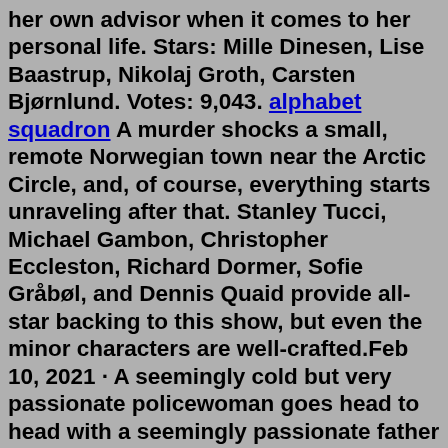her own advisor when it comes to her personal life. Stars: Mille Dinesen, Lise Baastrup, Nikolaj Groth, Carsten Bjørnlund. Votes: 9,043. alphabet squadron A murder shocks a small, remote Norwegian town near the Arctic Circle, and, of course, everything starts unraveling after that. Stanley Tucci, Michael Gambon, Christopher Eccleston, Richard Dormer, Sofie Gråbøl, and Dennis Quaid provide all-star backing to this show, but even the minor characters are well-crafted.Feb 10, 2021 · A seemingly cold but very passionate policewoman goes head to head with a seemingly passionate father who is in fact a cold serial killer in this procedural out of Belfast. The only thing they share is their common complexity. Stars: Gillian Anderson, Jamie Dornan, John Lynch, Aisling Franciosi. Votes: 103,703. Nordic noir (or Scandinavian noir) is best known to the US reading public through the work of the late Swedish author Stieg Larsson. The trilogy posthumously launched in 2005 with the publication of The Girl With the Dragon Tattoo (titled Men Who Hate Women in the